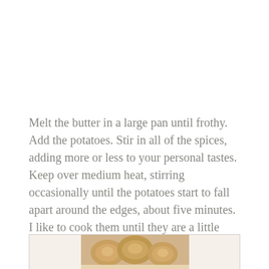Melt the butter in a large pan until frothy. Add the potatoes. Stir in all of the spices, adding more or less to your personal tastes. Keep over medium heat, stirring occasionally until the potatoes start to fall apart around the edges, about five minutes. I like to cook them until they are a little crispy.
[Figure (photo): Photo of cooked potatoes, partially visible at the bottom of the page inside a bordered box]